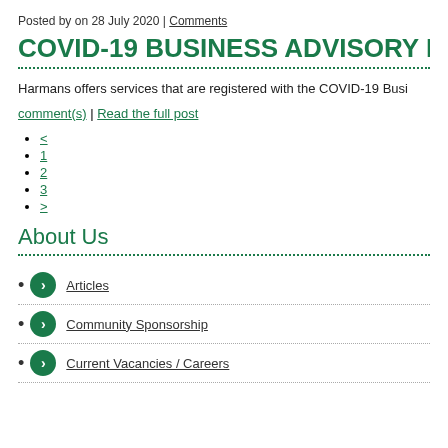Posted by on 28 July 2020 | Comments
COVID-19 BUSINESS ADVISORY FUND
Harmans offers services that are registered with the COVID-19 Busi
comment(s) | Read the full post
<
1
2
3
>
About Us
Articles
Community Sponsorship
Current Vacancies / Careers